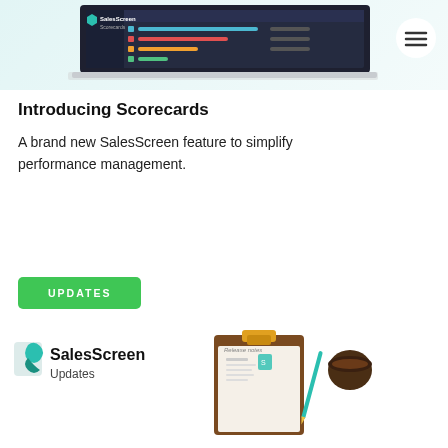[Figure (screenshot): SalesScreen Scorecards software screenshot showing a laptop with dashboard interface and a menu button in the top right corner]
Introducing Scorecards
A brand new SalesScreen feature to simplify performance management.
[Figure (other): Green UPDATES button]
[Figure (logo): SalesScreen Updates logo with clipboard and coffee mug illustration]